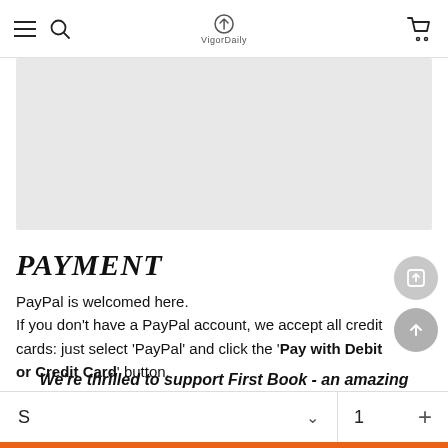VigorDaily navigation bar with hamburger menu, search, logo, and cart
[Figure (photo): Gray placeholder image area]
PAYMENT
PayPal is welcomed here. If you don't have a PayPal account, we accept all credit cards: just select 'PayPal' and click the 'Pay with Debit or Credit Card' button.
We're thrilled to support First Book - an amazing charity that donates books to disadvantaged children who
S   1   +